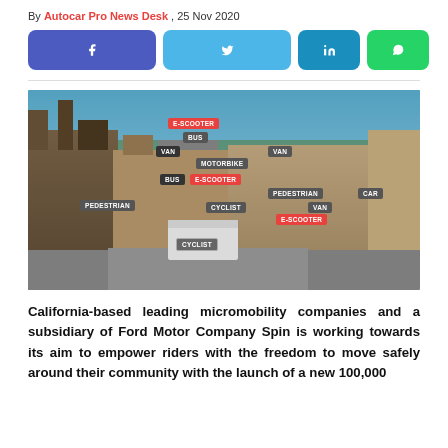By Autocar Pro News Desk , 25 Nov 2020
[Figure (other): Social sharing buttons: Facebook (purple), Twitter (light blue), LinkedIn (blue), WhatsApp (green)]
[Figure (photo): Aerial/overhead photo of an Oxford city street scene with AI object detection labels overlaid: E-SCOOTER (red), BUS (gray), VAN (gray), MOTORBIKE (gray), BUS (dark), E-SCOOTER (red), CYCLIST (gray), PEDESTRIAN (gray), PEDESTRIAN (gray), VAN (gray), CAR (gray), E-SCOOTER (red), CYCLIST (gray/outline), VAN (dark)]
California-based leading micromobility companies and a subsidiary of Ford Motor Company Spin is working towards its aim to empower riders with the freedom to move safely around their community with the launch of a new 100,000